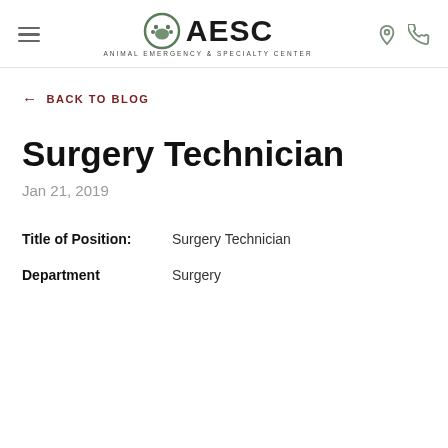AESC Animal Emergency & Specialty Center
← BACK TO BLOG
Surgery Technician
Jan 21, 2019
Title of Position: Surgery Technician
Department: Surgery